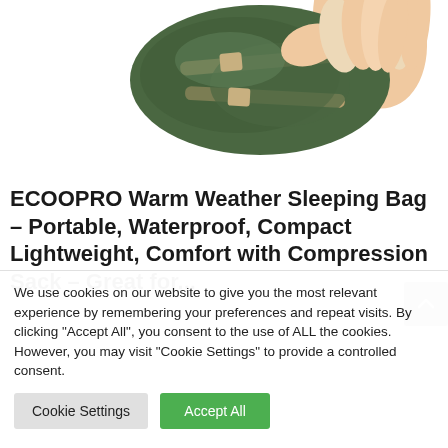[Figure (photo): A hand holding a compact green sleeping bag with tan straps, viewed from above on a white background.]
ECOOPRO Warm Weather Sleeping Bag – Portable, Waterproof, Compact Lightweight, Comfort with Compression Sack – Great for...
We use cookies on our website to give you the most relevant experience by remembering your preferences and repeat visits. By clicking "Accept All", you consent to the use of ALL the cookies. However, you may visit "Cookie Settings" to provide a controlled consent.